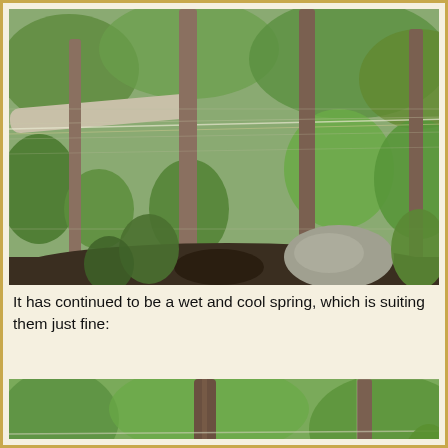[Figure (photo): Garden scene with wooden fence posts and wire mesh fencing, green leafy plants growing along the fence, dark soil and rocks visible at the base, lush vegetation in the background.]
It has continued to be a wet and cool spring, which is suiting them just fine:
[Figure (photo): Close-up garden scene with wooden fence posts and wire fencing, lush green plants with broad leaves growing along and through the fence, bright green foliage filling the frame.]